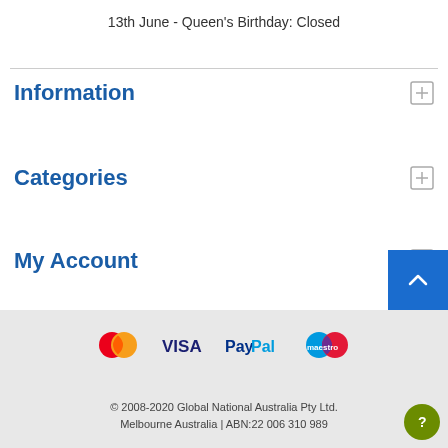13th June - Queen's Birthday: Closed
Information
Categories
My Account
[Figure (logo): Payment logos: MasterCard, VISA, PayPal, Maestro]
© 2008-2020 Global National Australia Pty Ltd. Melbourne Australia | ABN:22 006 310 989